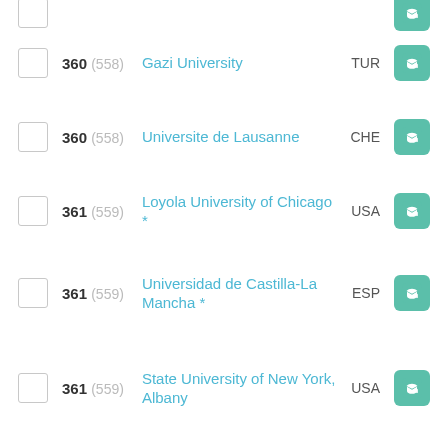360 (558) Gazi University TUR
360 (558) Universite de Lausanne CHE
361 (559) Loyola University of Chicago * USA
361 (559) Universidad de Castilla-La Mancha * ESP
361 (559) State University of New York, Albany USA
361 (559) University of Delhi * IND